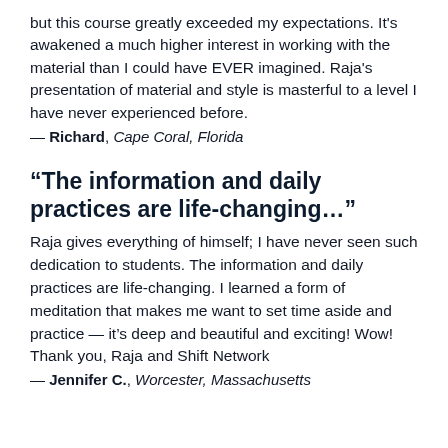but this course greatly exceeded my expectations. It's awakened a much higher interest in working with the material than I could have EVER imagined. Raja's presentation of material and style is masterful to a level I have never experienced before.
— Richard, Cape Coral, Florida
“The information and daily practices are life-changing…”
Raja gives everything of himself; I have never seen such dedication to students. The information and daily practices are life-changing. I learned a form of meditation that makes me want to set time aside and practice — it’s deep and beautiful and exciting! Wow! Thank you, Raja and Shift Network
— Jennifer C., Worcester, Massachusetts